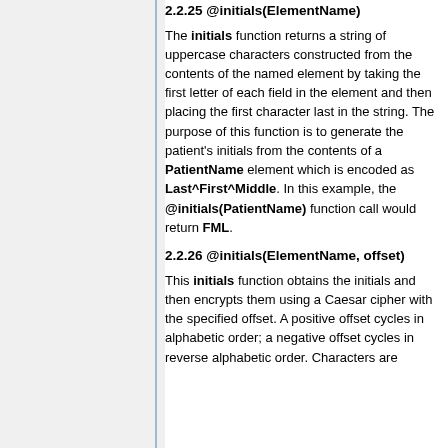2.2.25 @initials(ElementName)
The initials function returns a string of uppercase characters constructed from the contents of the named element by taking the first letter of each field in the element and then placing the first character last in the string. The purpose of this function is to generate the patient's initials from the contents of a PatientName element which is encoded as Last^First^Middle. In this example, the @initials(PatientName) function call would return FML.
2.2.26 @initials(ElementName, offset)
This initials function obtains the initials and then encrypts them using a Caesar cipher with the specified offset. A positive offset cycles in alphabetic order; a negative offset cycles in reverse alphabetic order. Characters are...